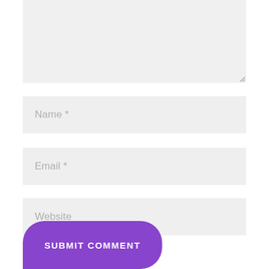[Figure (screenshot): A textarea input field with light gray background, showing a resize handle at bottom-right corner]
Name *
Email *
Website
SUBMIT COMMENT